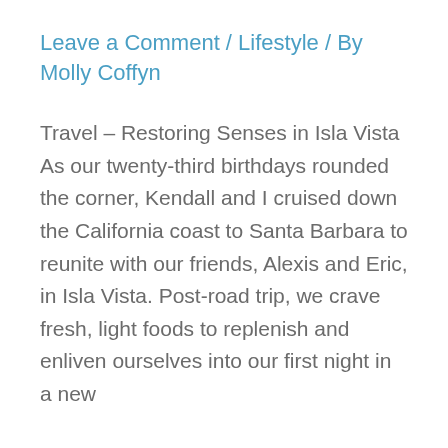Leave a Comment / Lifestyle / By Molly Coffyn
Travel – Restoring Senses in Isla Vista As our twenty-third birthdays rounded the corner, Kendall and I cruised down the California coast to Santa Barbara to reunite with our friends, Alexis and Eric, in Isla Vista. Post-road trip, we crave fresh, light foods to replenish and enliven ourselves into our first night in a new
…